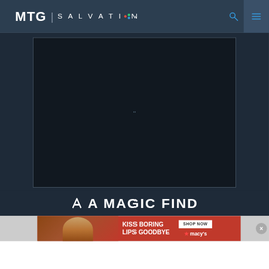MTG | SALVATION
[Figure (screenshot): Dark embedded video or content box with a small center dot, set against dark navy background]
A MAGIC FIND
[Figure (photo): Advertisement banner: KISS BORING LIPS GOODBYE - photo of woman with red lips - SHOP NOW - macy's logo]